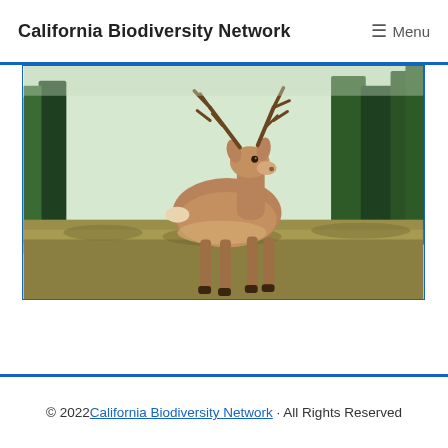California Biodiversity Network  ☰ Menu
[Figure (photo): A mule deer buck with antlers standing in a grassy meadow with conifer trees in the background]
© 2022 California Biodiversity Network · All Rights Reserved